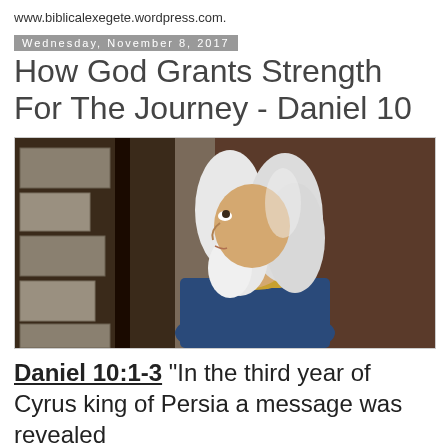www.biblicalexegete.wordpress.com.
Wednesday, November 8, 2017
How God Grants Strength For The Journey - Daniel 10
[Figure (illustration): Illustration of an elderly man with white hair and beard, wearing a blue robe with gold collar, looking upward against a stone wall background]
Daniel 10:1-3 "In the third year of Cyrus king of Persia a message was revealed